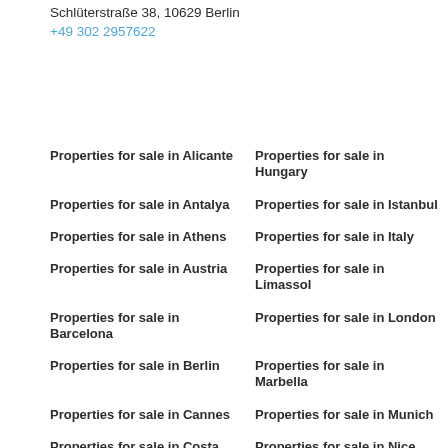Schlüterstraße 38, 10629 Berlin
+49 302 2957622
Properties for sale in Alicante
Properties for sale in Hungary
Properties for sale in Antalya
Properties for sale in Istanbul
Properties for sale in Athens
Properties for sale in Italy
Properties for sale in Austria
Properties for sale in Limassol
Properties for sale in Barcelona
Properties for sale in London
Properties for sale in Berlin
Properties for sale in Marbella
Properties for sale in Cannes
Properties for sale in Munich
Properties for sale in Costa Blanca
Properties for sale in Nice
Properties for sale in Portugal
Properties for sale in Côte
Properties for sale in Prague